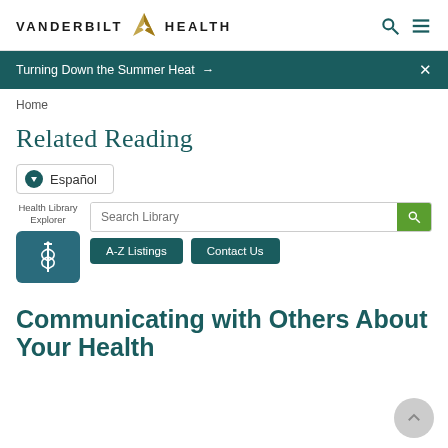VANDERBILT HEALTH
Turning Down the Summer Heat →
Home
Related Reading
Español
Health Library Explorer
Search Library
A-Z Listings
Contact Us
Communicating with Others About Your Health